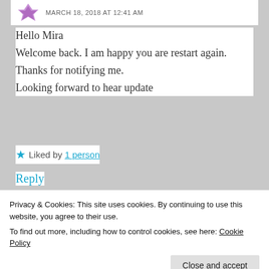MARCH 18, 2018 AT 12:41 AM
Hello Mira
Welcome back. I am happy you are restart again.
Thanks for notifying me.
Looking forward to hear update
★ Liked by 1 person
Reply
Privacy & Cookies: This site uses cookies. By continuing to use this website, you agree to their use.
To find out more, including how to control cookies, see here: Cookie Policy
Close and accept
and again, i could definitely feel myself in that